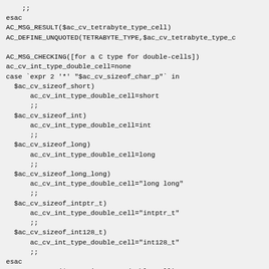;;
esac
AC_MSG_RESULT($ac_cv_tetrabyte_type_cell)
AC_DEFINE_UNQUOTED(TETRABYTE_TYPE,$ac_cv_tetrabyte_type_c

AC_MSG_CHECKING([for a C type for double-cells])
ac_cv_int_type_double_cell=none
case `expr 2 '*' "$ac_cv_sizeof_char_p"` in
  $ac_cv_sizeof_short)
      ac_cv_int_type_double_cell=short
      ;;
  $ac_cv_sizeof_int)
      ac_cv_int_type_double_cell=int
      ;;
  $ac_cv_sizeof_long)
      ac_cv_int_type_double_cell=long
      ;;
  $ac_cv_sizeof_long_long)
      ac_cv_int_type_double_cell="long long"
      ;;
  $ac_cv_sizeof_intptr_t)
      ac_cv_int_type_double_cell="intptr_t"
      ;;
  $ac_cv_sizeof_int128_t)
      ac_cv_int_type_double_cell="int128_t"
      ;;
esac
AC_MSG_RESULT($ac_cv_int_type_double_cell)

AC_MSG_CHECKING([for a C type for unsigned double-cells]